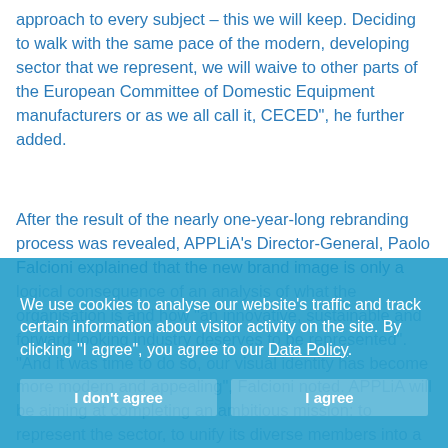approach to every subject – this we will keep. Deciding to walk with the same pace of the modern, developing sector that we represent, we will waive to other parts of the European Committee of Domestic Equipment manufacturers or as we all call it, CECED", he further added.
After the result of the nearly one-year-long rebranding process was revealed, APPLiA's Director-General, Paolo Falcioni explained that the new brand image is only a logical consequence of an analysis of what the organisation is and how "an innovative, sustainable and forward-looking industry deserves to be represented". "And it was time to do so, our visual identity has become more modern and appealing", Falcioni noted. APPLiA will be aiming at completing an ambitious mission: to represent the sector, to unify its diverse members into a single, dynamic, political actor, to shape European policy and to empower policy makers by providing them with the
We use cookies to analyse our website's traffic and track certain information about visitor activity on the site. By clicking "I agree", you agree to our Data Policy.